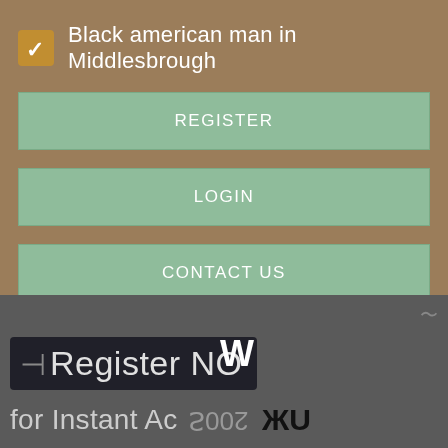Black american man in Middlesbrough
REGISTER
LOGIN
CONTACT US
[Figure (screenshot): Bottom portion of a website screenshot showing a dark grey banner with overlapping text: 'Register NOW' in large white letters over a dark overlay box, and partially visible text 'for Instant Ac...' below, with mirrored/flipped decorative text elements.]